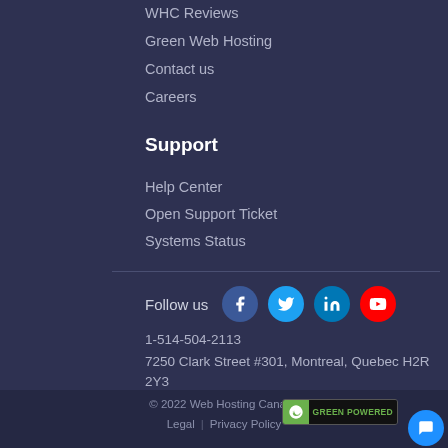WHC Reviews
Green Web Hosting
Contact us
Careers
Support
Help Center
Open Support Ticket
Systems Status
Follow us
1-514-504-2113
7250 Clark Street #301, Montreal, Quebec H2R 2Y3
Canada
© 2022 Web Hosting Canada
Legal | Privacy Policy
GREEN POWERED